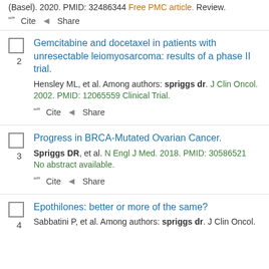(Basel). 2020. PMID: 32486344 Free PMC article. Review.
Cite  Share
Gemcitabine and docetaxel in patients with unresectable leiomyosarcoma: results of a phase II trial.
Hensley ML, et al. Among authors: spriggs dr. J Clin Oncol. 2002. PMID: 12065559 Clinical Trial.
Cite  Share
Progress in BRCA-Mutated Ovarian Cancer.
Spriggs DR, et al. N Engl J Med. 2018. PMID: 30586521 No abstract available.
Cite  Share
Epothilones: better or more of the same?
Sabbatini P, et al. Among authors: spriggs dr. J Clin Oncol.